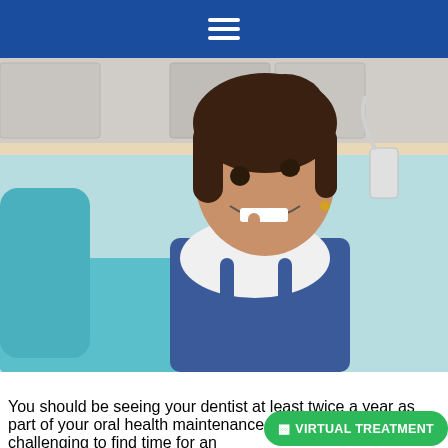≡ (hamburger menu icon)
[Figure (photo): A young girl with dark hair, smiling broadly and pointing to her teeth, sitting in a teal dental chair in a dental office. She is wearing a white t-shirt and denim overalls. Dental equipment including a cup holder is visible in the background.]
You should be seeing your dentist at least twice a year as part of your oral health maintenance. Although it can be challenging to find time for an